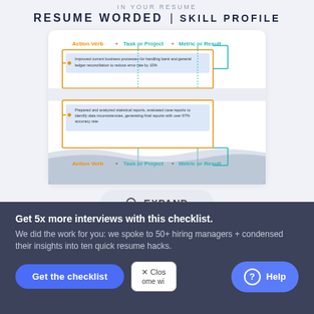IN YOUR RESUME
RESUME WORDED | SKILL PROFILE
[Figure (infographic): Diagram showing resume bullet structure: Action Verb + Task or Project + Metric or Result, with two example resume bullets highlighted in blue. Example 1: 'Improved current business processes for handling bank and general ledger reconciliation to reduce error rate by 10%'. Example 2: 'Prepared and analyzed statistical reports, evaluated case reports to identify data inconsistencies, generating final reports with over 97% accuracy rate'. Bottom row repeats: Action Verb + Task or Project + Metric or Result.]
EXPAND
Get 5x more interviews with this checklist.
We did the work for you: we spoke to 50+ hiring managers + condensed their insights into ten quick resume hacks.
Get the checklist
✕ Close
Help